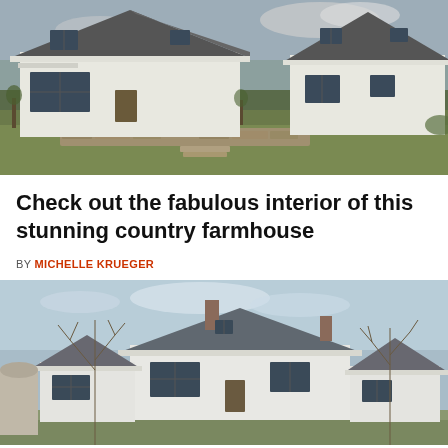[Figure (photo): Exterior photo of a modern white country farmhouse with metal roof, green lawn, and stone retaining wall. Two structures visible side by side.]
Check out the fabulous interior of this stunning country farmhouse
BY MICHELLE KRUEGER
[Figure (photo): Exterior photo of a white country farmhouse in winter/bare trees with chimneys and attached structures under a pale blue sky.]
© CountryPolish   About Ads   Terms   Privacy   Do Not Sell My Info